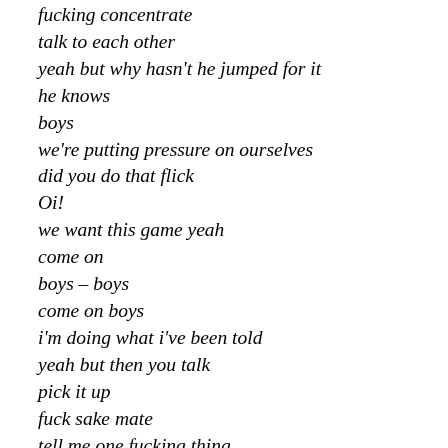fucking concentrate
talk to each other
yeah but why hasn't he jumped for it
he knows
boys
we're putting pressure on ourselves
did you do that flick
Oi!
we want this game yeah
come on
boys – boys
come on boys
i'm doing what i've been told
yeah but then you talk
pick it up
fuck sake mate
tell me one fucking thing